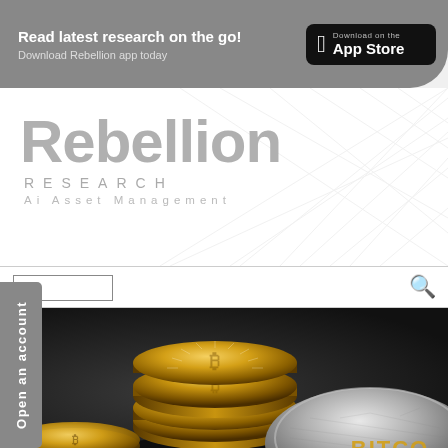Read latest research on the go! Download Rebellion app today — Download on the App Store
[Figure (logo): Rebellion Research Ai Asset Management logo with diamond pattern background]
[Figure (photo): Bitcoin gold coins stacked, with a silver/gold Bitcoin coin in the foreground on dark background]
Open an account